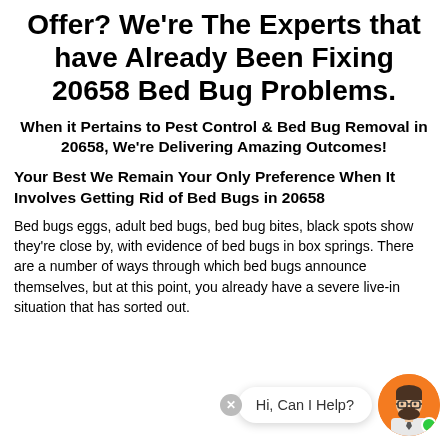Offer? We're The Experts that have Already Been Fixing 20658 Bed Bug Problems.
When it Pertains to Pest Control & Bed Bug Removal in 20658, We're Delivering Amazing Outcomes!
Your Best We Remain Your Only Preference When It Involves Getting Rid of Bed Bugs in 20658
Bed bugs eggs, adult bed bugs, bed bug bites, black spots show they're close by, with evidence of bed bugs in box springs. There are a number of ways through which bed bugs announce themselves, but at this point, you already have a severe live-in situation that has sorted out.
[Figure (illustration): Chat widget overlay with close button, speech bubble saying 'Hi, Can I Help?' and an avatar of a bearded man with glasses on an orange circle background with a green online indicator dot.]